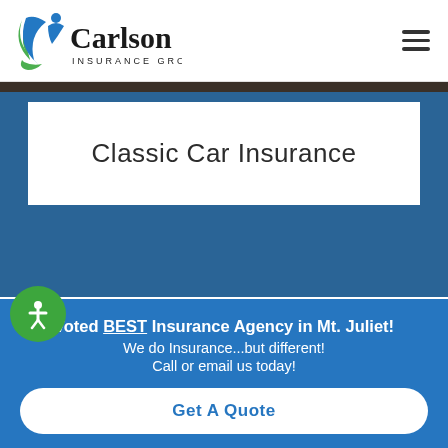[Figure (logo): Carlson Insurance Group logo with green and blue swoosh design and company name]
Classic Car Insurance
Voted BEST Insurance Agency in Mt. Juliet! We do Insurance...but different! Call or email us today!
Get A Quote